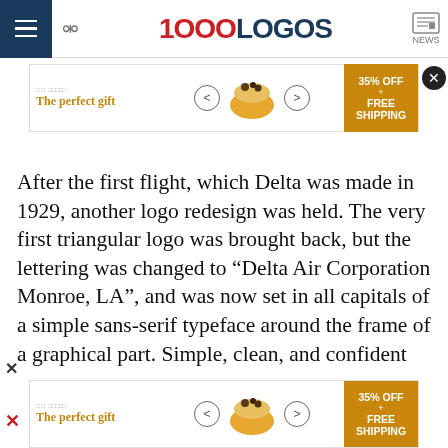1000LOGOS NEWS
[Figure (screenshot): Advertisement banner: 'The perfect gift' with food bowl image and '35% OFF + FREE SHIPPING' offer]
After the first flight, which Delta was made in 1929, another logo redesign was held. The very first triangular logo was brought back, but the lettering was changed to “Delta Air Corporation Monroe, LA”, and was now set in all capitals of a simple sans-serif typeface around the frame of a graphical part. Simple, clean, and confident
[Figure (screenshot): Advertisement banner bottom: 'The perfect gift' with food bowl image and '35% OFF + FREE SHIPPING' offer]